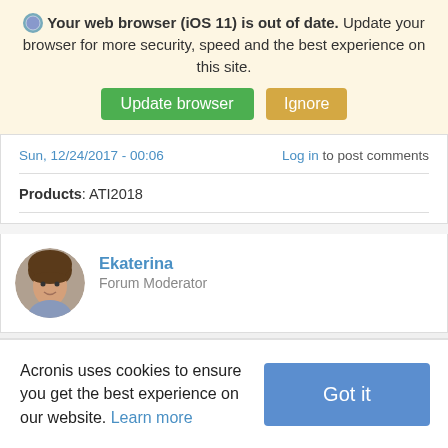Your web browser (iOS 11) is out of date. Update your browser for more security, speed and the best experience on this site.
Update browser | Ignore
Sun, 12/24/2017 - 00:06
Log in to post comments
Products: ATI2018
Ekaterina
Forum Moderator
Acronis uses cookies to ensure you get the best experience on our website. Learn more
Got it